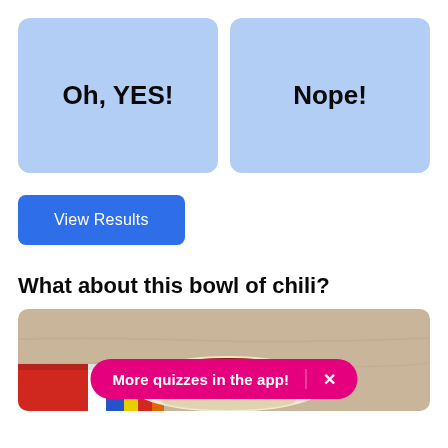[Figure (other): Two light blue square buttons side by side: left button labeled 'Oh, YES!' and right button labeled 'Nope!' — poll/quiz answer choices]
[Figure (other): Blue 'View Results' button]
What about this bowl of chili?
[Figure (photo): Photo of a bowl of chili with beans, sauce, and toppings on a colorful striped placemat. A hot-pink banner overlay reads 'More quizzes in the app!' with an X close button.]